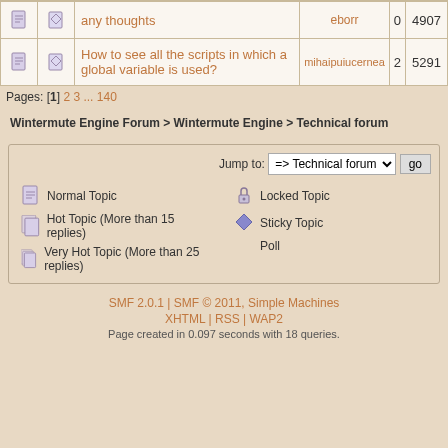|  |  | Topic | Author | Replies | Views |
| --- | --- | --- | --- | --- | --- |
| [icon] | [icon] | any thoughts | eborr | 0 | 4907 |
| [icon] | [icon] | How to see all the scripts in which a global variable is used? | mihaipuiucernea | 2 | 5291 |
Pages: [1] 2 3 ... 140
Wintermute Engine Forum > Wintermute Engine > Technical forum
Jump to: => Technical forum  go
Normal Topic
Hot Topic (More than 15 replies)
Very Hot Topic (More than 25 replies)
Locked Topic
Sticky Topic
Poll
SMF 2.0.1 | SMF © 2011, Simple Machines
XHTML | RSS | WAP2
Page created in 0.097 seconds with 18 queries.